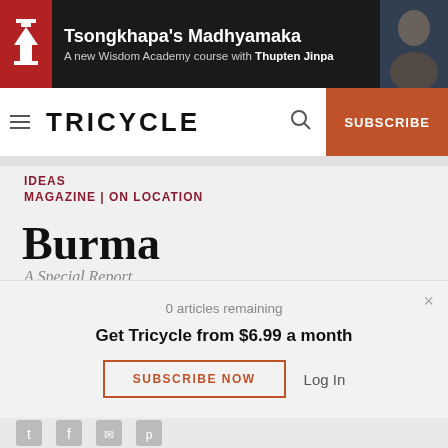[Figure (screenshot): Ad banner for Tsongkhapa's Madhyamaka course on Wisdom Academy, featuring Thupten Jinpa]
TRICYCLE | SUBSCRIBE
IDEAS
MAGAZINE | ON LOCATION
Burma
A Special Report
0 articles remaining
Get Tricycle from $6.99 a month
SUBSCRIBE NOW  Log In